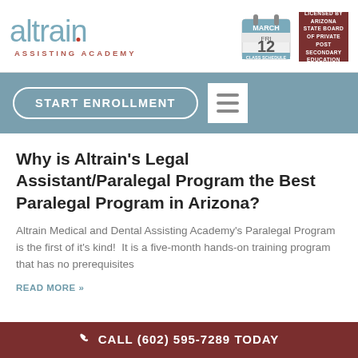[Figure (logo): Altrain Assisting Academy logo with teal stylized text and burgundy subtitle]
[Figure (illustration): Calendar icon showing MARCH, FRI 12, CLASS SCHEDULE]
[Figure (other): Dark red box reading LICENSED BY ARIZONA STATE BOARD OF PRIVATE POST SECONDARY EDUCATION]
START ENROLLMENT
Why is Altrain's Legal Assistant/Paralegal Program the Best Paralegal Program in Arizona?
Altrain Medical and Dental Assisting Academy's Paralegal Program is the first of it's kind!  It is a five-month hands-on training program that has no prerequisites
READ MORE »
CALL (602) 595-7289 TODAY